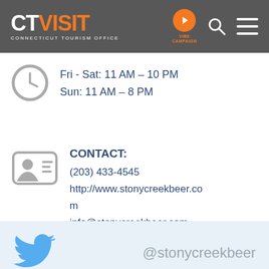CT VISIT - CONNECTICUT TOURISM OFFICE
Fri - Sat: 11 AM – 10 PM
Sun: 11 AM – 8 PM
CONTACT:
(203) 433-4545
http://www.stonycreekbeer.com
info@stonycreekbeer.com
@stonycreekbeer
@StonyCreekBeer · Feb 4